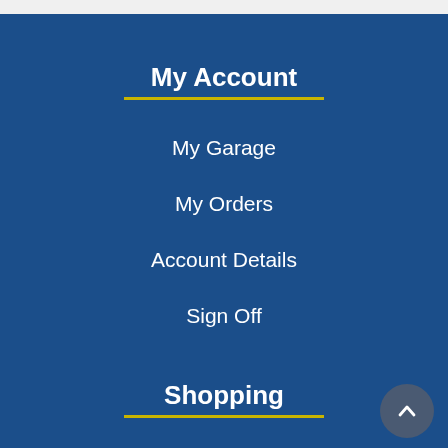My Account
My Garage
My Orders
Account Details
Sign Off
Shopping
Products
Privacy Policy
Terms & Conditions